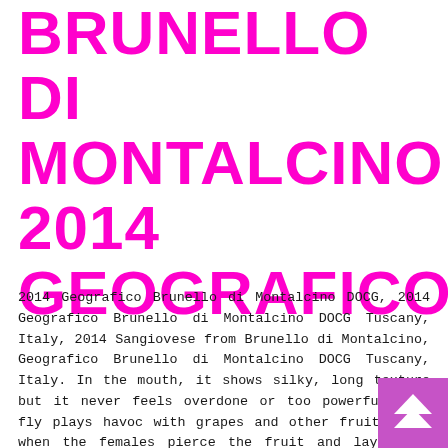BRUNELLO DI MONTALCINO 2014 GEOGRAFICO
2014 Geografico Brunello di Montalcino DOCG, 2014 Geografico Brunello di Montalcino DOCG Tuscany, Italy, 2014 Sangiovese from Brunello di Montalcino, Geografico Brunello di Montalcino DOCG Tuscany, Italy. In the mouth, it shows silky, long texture but it never feels overdone or too powerful. The fly plays havoc with grapes and other fruit crops when the females pierce the fruit and lay their eggs in them, often alongside a healthy dose … NY: New York, 2014 Geografico Brunello Montalcino [Future Arrival]. Standard delivery 1 weekNo minimum order. Download Image Save Tasting Notes Looking for Stockists? This wine is made from the oldest Sangiovese vines on the property. Podere le Ripi, Lupi e Sirene, Brunello di Montalcino, 2014. single. Medium body, velvety tannins and a flavorful finish of ripe fruit and chocolate. Geografico Brunello di Montalcino DOCG Tuscany, Italy. Total impartiality. Soldera. Browse. It offers p... intensity but it never goes overboard. Fontorenzo. Populari...